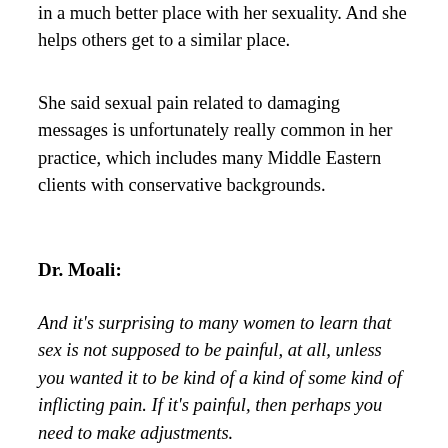in a much better place with her sexuality. And she helps others get to a similar place.
She said sexual pain related to damaging messages is unfortunately really common in her practice, which includes many Middle Eastern clients with conservative backgrounds.
Dr. Moali:
And it's surprising to many women to learn that sex is not supposed to be painful, at all, unless you wanted it to be kind of a kind of some kind of inflicting pain. If it's painful, then perhaps you need to make adjustments.
When I talk about this with my clients, they are shocked and